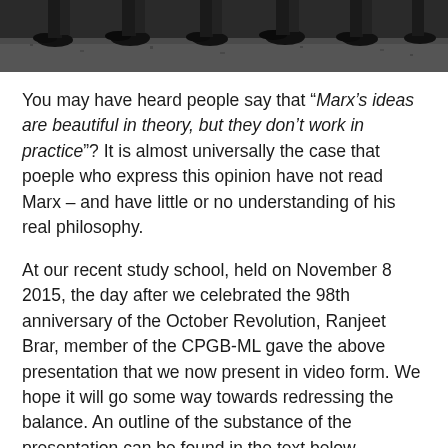[Figure (photo): Black and white photograph showing feet and lower legs of a crowd of people standing on a textured surface, viewed from above.]
You may have heard people say that “Marx’s ideas are beautiful in theory, but they don’t work in practice”? It is almost universally the case that poeple who express this opinion have not read Marx – and have little or no understanding of his real philosophy.
At our recent study school, held on November 8 2015, the day after we celebrated the 98th anniversary of the October Revolution, Ranjeet Brar, member of the CPGB-ML gave the above presentation that we now present in video form. We hope it will go some way towards redressing the balance. An outline of the substance of the presentation can be found in the text below.